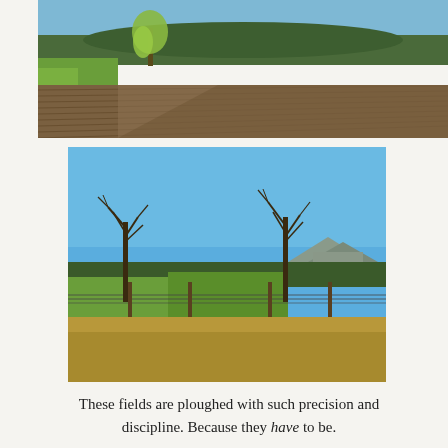[Figure (photo): A ploughed agricultural field with dry crop stubble and dark soil rows, green grass on the left side, a willow tree and hills with forest in the background under a blue sky.]
[Figure (photo): A rural landscape with a bright blue sky, bare leafless trees in the foreground, fence wire, an open green and brown grassy field, and a flat-topped mountain or butte in the far background.]
These fields are ploughed with such precision and discipline. Because they have to be.